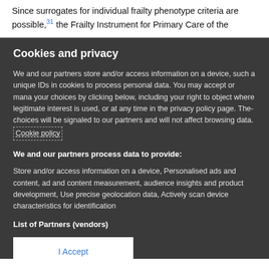Since surrogates for individual frailty phenotype criteria are possible,31 the Frailty Instrument for Primary Care of the
Cookies and privacy
We and our partners store and/or access information on a device, such as unique IDs in cookies to process personal data. You may accept or manage your choices by clicking below, including your right to object where legitimate interest is used, or at any time in the privacy policy page. These choices will be signaled to our partners and will not affect browsing data. Cookie policy
We and our partners process data to provide:
Store and/or access information on a device, Personalised ads and content, ad and content measurement, audience insights and product development, Use precise geolocation data, Actively scan device characteristics for identification
List of Partners (vendors)
I Accept